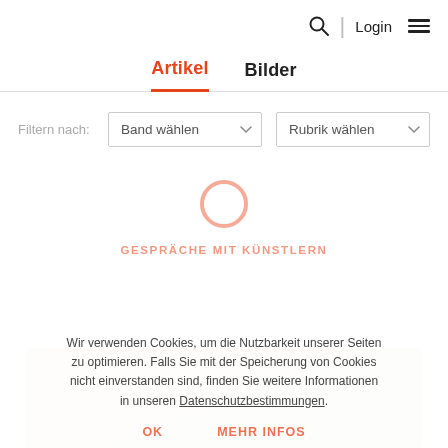Login  ☰
Artikel   Bilder
Filtern nach:   Band wählen ∨   Rubrik wählen ∨
[Figure (other): Loading spinner circle and category label GESPRÄCHE MIT KÜNSTLERN]
Wir verwenden Cookies, um die Nutzbarkeit unserer Seiten zu optimieren. Falls Sie mit der Speicherung von Cookies nicht einverstanden sind, finden Sie weitere Informationen in unseren Datenschutzbestimmungen.
OK   MEHR INFOS